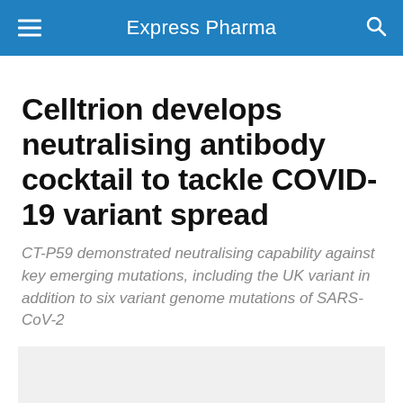Express Pharma
Celltrion develops neutralising antibody cocktail to tackle COVID-19 variant spread
CT-P59 demonstrated neutralising capability against key emerging mutations, including the UK variant in addition to six variant genome mutations of SARS-CoV-2
[Figure (photo): Gray placeholder image area for article photo]